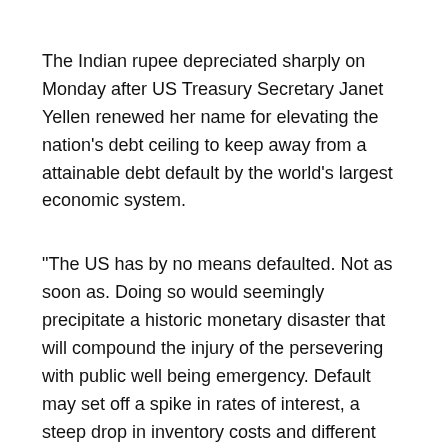The Indian rupee depreciated sharply on Monday after US Treasury Secretary Janet Yellen renewed her name for elevating the nation's debt ceiling to keep away from a attainable debt default by the world's largest economic system.
“The US has by no means defaulted. Not as soon as. Doing so would seemingly precipitate a historic monetary disaster that will compound the injury of the persevering with public well being emergency. Default may set off a spike in rates of interest, a steep drop in inventory costs and different monetary turmoil. Our present financial restoration would reverse into recession, with billions of {dollars} of progress and tens of millions of jobs misplaced,” wrote Yellen in her